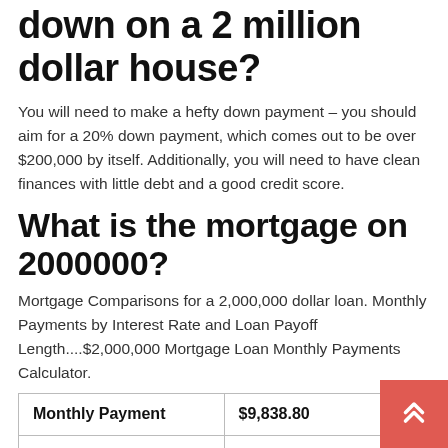down on a 2 million dollar house?
You will need to make a hefty down payment – you should aim for a 20% down payment, which comes out to be over $200,000 by itself. Additionally, you will need to have clean finances with little debt and a good credit score.
What is the mortgage on 2000000?
Mortgage Comparisons for a 2,000,000 dollar loan. Monthly Payments by Interest Rate and Loan Payoff Length....$2,000,000 Mortgage Loan Monthly Payments Calculator.
| Monthly Payment | $9,838.80 |
| --- | --- |
| Total Interest Paid | $1,541,967.22 |
| Total Paid | $3,541,967.22 |